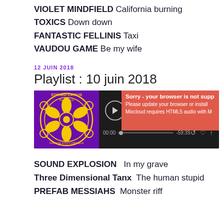VIOLET MINDFIELD California burning
TOXICS Down down
FANTASTIC FELLINIS Taxi
VAUDOU GAME Be my wife
12 JUIN 2018
Playlist : 10 juin 2018
[Figure (screenshot): Mixcloud audio player widget with Stoned Circus Radio Show album art (purple/yellow psychedelic design, text: STONED CIRCUS Radio show, GARAGE & PSYCHEDELIA). Player shows 00:00 timestamp, -59:39 remaining, progress bar. Overlay shows red error: Sorry - your browser is not supp[orted]. Please update your browser or install... Mixcloud requires HTML5 audio with M...]
SOUND EXPLOSION   In my grave
Three Dimensional Tanx   The human stupid
PREFAB MESSIAHS   Monster riff